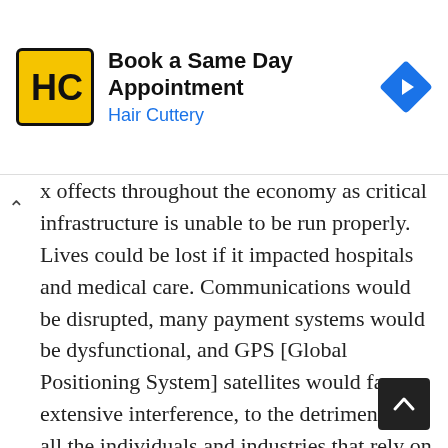[Figure (other): Advertisement banner for Hair Cuttery: 'Book a Same Day Appointment' with HC logo and navigation arrow icon]
x offects throughout the economy as critical infrastructure is unable to be run properly. Lives could be lost if it impacted hospitals and medical care. Communications would be disrupted, many payment systems would be dysfunctional, and GPS [Global Positioning System] satellites would face extensive interference, to the detriment of all the individuals and industries that rely on accurate location services, not least aircraft,” the chilling report reads.